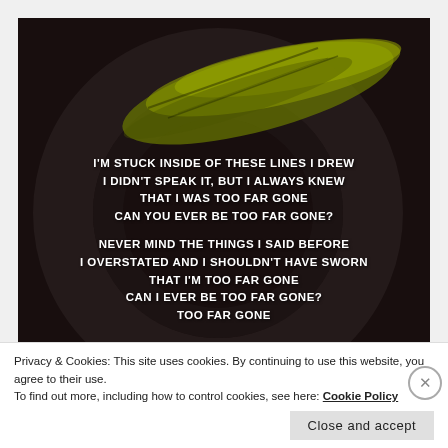[Figure (illustration): Dark background image with circular swirl motif and yellowish-green brushstroke or foliage texture across the upper portion, overlaid with white bold song lyrics]
I'M STUCK INSIDE OF THESE LINES I DREW
I DIDN'T SPEAK IT, BUT I ALWAYS KNEW
THAT I WAS TOO FAR GONE
CAN YOU EVER BE TOO FAR GONE?

NEVER MIND THE THINGS I SAID BEFORE
I OVERSTATED AND I SHOULDN'T HAVE SWORN
THAT I'M TOO FAR GONE
CAN I EVER BE TOO FAR GONE?
TOO FAR GONE
Privacy & Cookies: This site uses cookies. By continuing to use this website, you agree to their use.
To find out more, including how to control cookies, see here: Cookie Policy
Close and accept